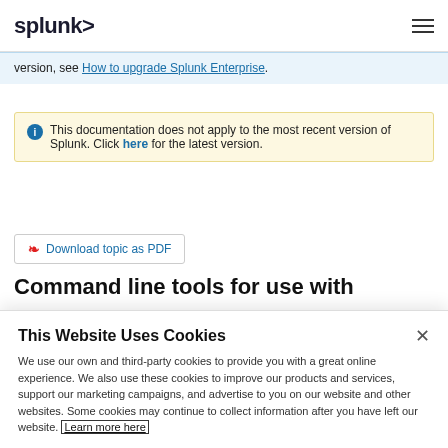splunk>
version, see How to upgrade Splunk Enterprise.
This documentation does not apply to the most recent version of Splunk. Click here for the latest version.
Download topic as PDF
Command line tools for use with
This Website Uses Cookies
We use our own and third-party cookies to provide you with a great online experience. We also use these cookies to improve our products and services, support our marketing campaigns, and advertise to you on our website and other websites. Some cookies may continue to collect information after you have left our website. Learn more here
Accept Cookies
Cookies Settings ›